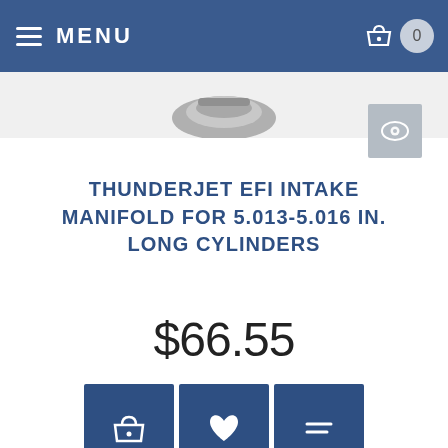MENU
[Figure (photo): Partial view of a metal engine intake manifold component, cropped at top of product area]
THUNDERJET EFI INTAKE MANIFOLD FOR 5.013-5.016 IN. LONG CYLINDERS
$66.55
[Figure (infographic): Three navy blue square action buttons: shopping basket icon, heart/wishlist icon, and list/compare icon]
Write Review
[Figure (photo): Partial view of gray metal engine intake manifold component showing curved channels, cropped at bottom of page]